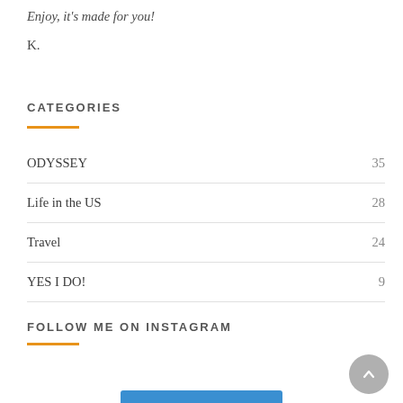Enjoy, it's made for you!
K.
CATEGORIES
ODYSSEY   35
Life in the US   28
Travel   24
YES I DO!   9
FOLLOW ME ON INSTAGRAM